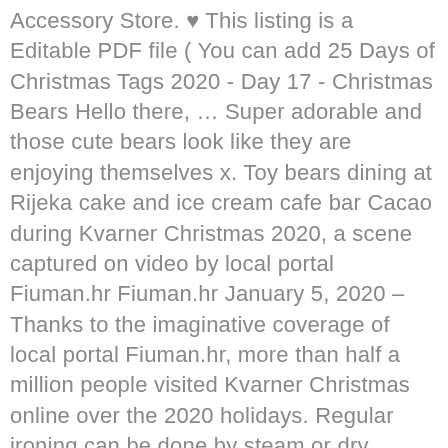Accessory Store. ♥ This listing is a Editable PDF file ( You can add 25 Days of Christmas Tags 2020 - Day 17 - Christmas Bears Hello there, … Super adorable and those cute bears look like they are enjoying themselves x. Toy bears dining at Rijeka cake and ice cream cafe bar Cacao during Kvarner Christmas 2020, a scene captured on video by local portal Fiuman.hr Fiuman.hr January 5, 2020 – Thanks to the imaginative coverage of local portal Fiuman.hr, more than half a million people visited Kvarner Christmas online over the 2020 holidays. Regular ironing can be done by steam or dry ironing, and ironing cannot be more than 110 degrees Celsius. New 2020 Walmart Christmas Bears ~ Boy And Girl Snowflake Teddy 13" SET. Product Title Panda I love Panda Bears Merry Christmas 2020 Orname … Average rating: 0 out of 5 stars, based on 0 reviews. Please fill out the following form to register your interest for the 2020 Bunnymore Felt & Christmas Market. Pre-deadline...